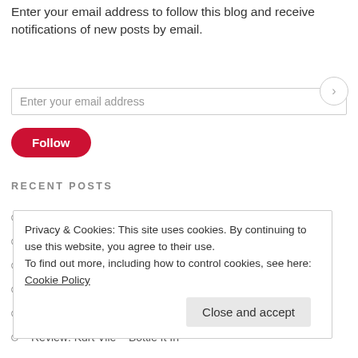Enter your email address to follow this blog and receive notifications of new posts by email.
Enter your email address
Follow
RECENT POSTS
WATCH: Bitter by Bedhead (Lyric Video)
REVIEW: Noname – Room 25
Daniel Romano: a Canadian Enigma
REVIEW: Shad – A Short Story About A War
REVIEW: Fucked Up – Dose Your Dreams
Review: Kurt Vile – Bottle It In
Privacy & Cookies: This site uses cookies. By continuing to use this website, you agree to their use.
To find out more, including how to control cookies, see here: Cookie Policy
Close and accept